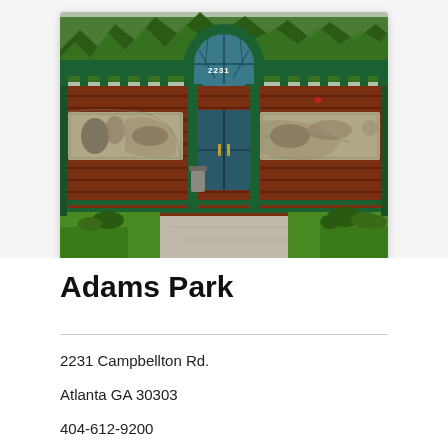[Figure (photo): Exterior photo of Adams Park recreation center building with green metal arch dome over entrance, brick facade with decorative metal mural panels on either side, green canopy roof, and manicured lawn in front. Address number 2231 visible on canopy.]
Adams Park
2231 Campbellton Rd.
Atlanta GA 30303
404-612-9200